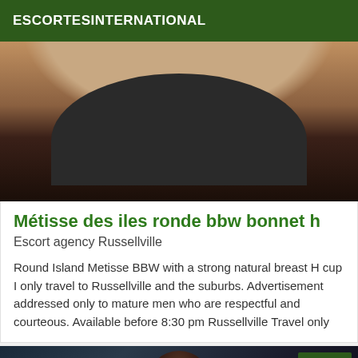ESCORTESINTERNATIONAL
[Figure (photo): Close-up photo of a person wearing a dark bra/swimwear top, cropped to show torso]
Métisse des iles ronde bbw bonnet h
Escort agency Russellville
Round Island Metisse BBW with a strong natural breast H cup I only travel to Russellville and the suburbs. Advertisement addressed only to mature men who are respectful and courteous. Available before 8:30 pm Russellville Travel only
[Figure (photo): Dark photo of a person with dark hair, partially visible, with a 'Verified' badge in the top right corner]